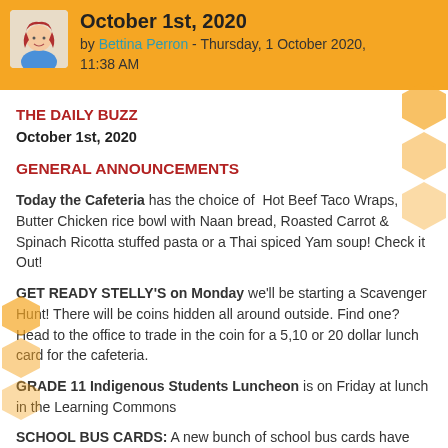October 1st, 2020 by Bettina Perron - Thursday, 1 October 2020, 11:38 AM
THE DAILY BUZZ
October 1st, 2020
GENERAL ANNOUNCEMENTS
Today the Cafeteria has the choice of Hot Beef Taco Wraps, Butter Chicken rice bowl with Naan bread, Roasted Carrot & Spinach Ricotta stuffed pasta or a Thai spiced Yam soup! Check it Out!
GET READY STELLY'S on Monday we'll be starting a Scavenger Hunt! There will be coins hidden all around outside. Find one? Head to the office to trade in the coin for a 5,10 or 20 dollar lunch card for the cafeteria.
GRADE 11 Indigenous Students Luncheon is on Friday at lunch in the Learning Commons
SCHOOL BUS CARDS: A new bunch of school bus cards have arrived ... please drop by the